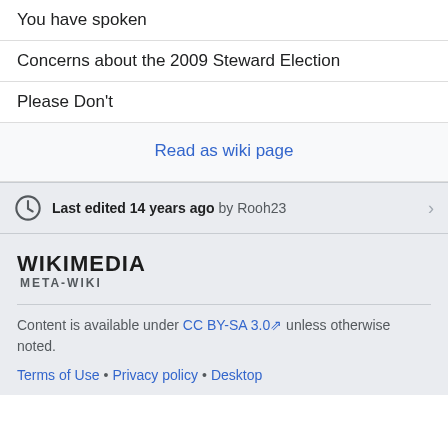You have spoken
Concerns about the 2009 Steward Election
Please Don't
Read as wiki page
Last edited 14 years ago by Rooh23
[Figure (logo): Wikimedia Meta-Wiki logo]
Content is available under CC BY-SA 3.0 unless otherwise noted.
Terms of Use • Privacy policy • Desktop